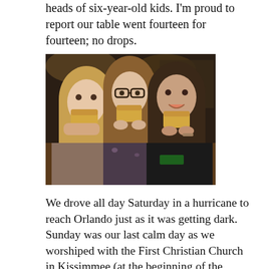heads of six-year-old kids. I'm proud to report our table went fourteen for fourteen; no drops.
[Figure (photo): Three young girls/teenagers eating bread rolls at a restaurant table, smiling at camera. A blue bucket is visible on the table.]
We drove all day Saturday in a hurricane to reach Orlando just as it was getting dark. Sunday was our last calm day as we worshiped with the First Christian Church in Kissimmee (at the beginning of the service they promoted the upcoming Christian Church Convention which is being held in Orlando this year and put Jerry Taylor's picture on the screens as one of the